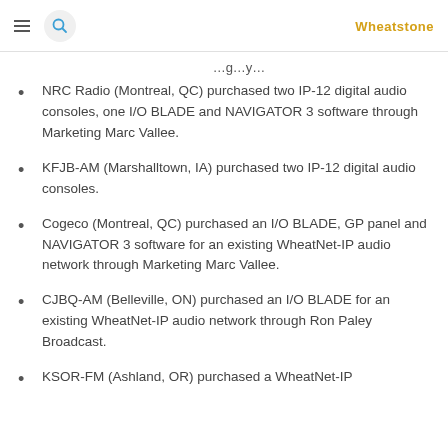Wheatstone
NRC Radio (Montreal, QC) purchased two IP-12 digital audio consoles, one I/O BLADE and NAVIGATOR 3 software through Marketing Marc Vallee.
KFJB-AM (Marshalltown, IA) purchased two IP-12 digital audio consoles.
Cogeco (Montreal, QC) purchased an I/O BLADE, GP panel and NAVIGATOR 3 software for an existing WheatNet-IP audio network through Marketing Marc Vallee.
CJBQ-AM (Belleville, ON) purchased an I/O BLADE for an existing WheatNet-IP audio network through Ron Paley Broadcast.
KSOR-FM (Ashland, OR) purchased a WheatNet-IP